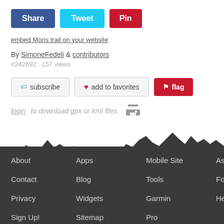Share | Tweet | Pin
embed Moris trail on your website
By SimoneFedeli & contributors
#242692 · 157 views
subscribe | add to favorites | flag
login to download gpx or kml files.
About | Apps | Mobile Site | Associations | Contact | Blog | Tools | Forum | Privacy | Widgets | Garmin | Help | Sign Up! | Sitemap | Pro